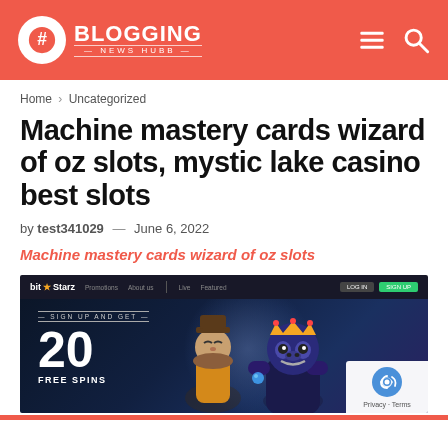BLOGGING NEWS HUBB
Home > Uncategorized
Machine mastery cards wizard of oz slots, mystic lake casino best slots
by test341029 — June 6, 2022
Machine mastery cards wizard of oz slots
[Figure (screenshot): BitStarz casino website screenshot showing sign up and get 20 free spins promotion with animated characters]